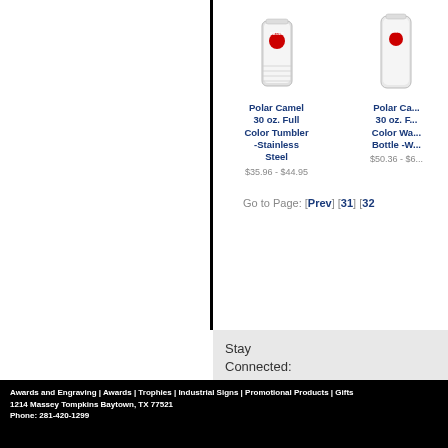[Figure (photo): Polar Camel 30 oz. Full Color Tumbler - Stainless Steel product image]
Polar Camel 30 oz. Full Color Tumbler -Stainless Steel
$35.96 - $44.95
[Figure (photo): Polar Camel 30 oz. Full Color Water Bottle - W... product image (partially visible)]
Polar Ca... 30 oz. F... Color Wa... Bottle -W...
$50.36 - $6...
Go to Page: [Prev] [31] [32
Stay Connected:
Awards and Engraving | Awards | Trophies | Industrial Signs | Promotional Products | Gifts
1214 Massey Tompkins Baytown, TX 77521
Phone: 281-420-1299